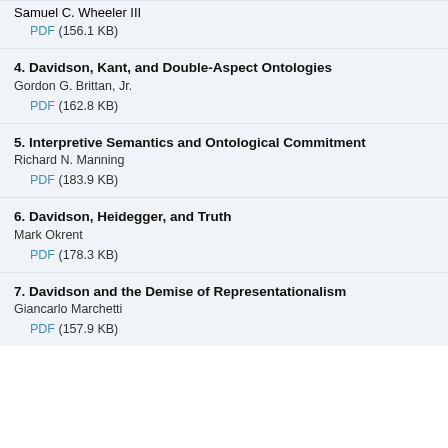Samuel C. Wheeler III
PDF (156.1 KB)
4. Davidson, Kant, and Double-Aspect Ontologies
Gordon G. Brittan, Jr.
PDF (162.8 KB)
5. Interpretive Semantics and Ontological Commitment
Richard N. Manning
PDF (183.9 KB)
6. Davidson, Heidegger, and Truth
Mark Okrent
PDF (178.3 KB)
7. Davidson and the Demise of Representationalism
Giancarlo Marchetti
PDF (157.9 KB)